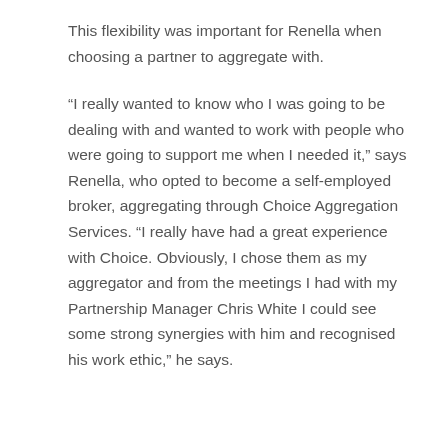This flexibility was important for Renella when choosing a partner to aggregate with.
“I really wanted to know who I was going to be dealing with and wanted to work with people who were going to support me when I needed it,” says Renella, who opted to become a self-employed broker, aggregating through Choice Aggregation Services. “I really have had a great experience with Choice. Obviously, I chose them as my aggregator and from the meetings I had with my Partnership Manager Chris White I could see some strong synergies with him and recognised his work ethic,” he says.